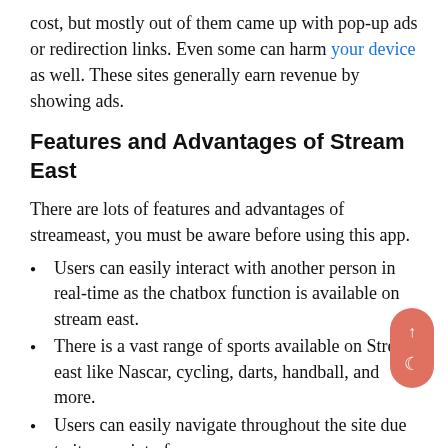cost, but mostly out of them came up with pop-up ads or redirection links. Even some can harm your device as well. These sites generally earn revenue by showing ads.
Features and Advantages of Stream East
There are lots of features and advantages of streameast, you must be aware before using this app.
Users can easily interact with another person in real-time as the chatbox function is available on stream east.
There is a vast range of sports available on Stream east like Nascar, cycling, darts, handball, and more.
Users can easily navigate throughout the site due to its easy interface.
Users can find any sports very easily on streameast as a search option is present on this site.
The creation of an account is very easy for watching high-quality content.